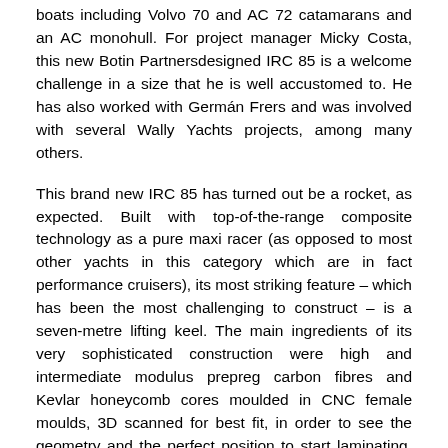boats including Volvo 70 and AC 72 catamarans and an AC monohull. For project manager Micky Costa, this new Botin Partnersdesigned IRC 85 is a welcome challenge in a size that he is well accustomed to. He has also worked with Germán Frers and was involved with several Wally Yachts projects, among many others.
This brand new IRC 85 has turned out be a rocket, as expected. Built with top-of-the-range composite technology as a pure maxi racer (as opposed to most other yachts in this category which are in fact performance cruisers), its most striking feature – which has been the most challenging to construct – is a seven-metre lifting keel. The main ingredients of its very sophisticated construction were high and intermediate modulus prepreg carbon fibres and Kevlar honeycomb cores moulded in CNC female moulds, 3D scanned for best fit, in order to see the geometry and the perfect position to start laminating. Several key parts of the boat, like the rudder, were